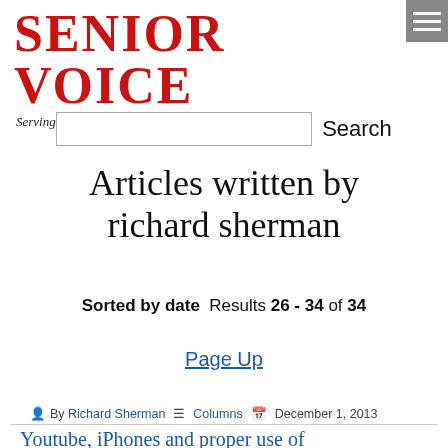SENIOR VOICE
Serving Older Alaskans and Their Families Since 1978
Search
Articles written by richard sherman
Sorted by date  Results 26 - 34 of 34
Page Up
By Richard Sherman  Columns  December 1, 2013
Youtube, iPhones and proper use of